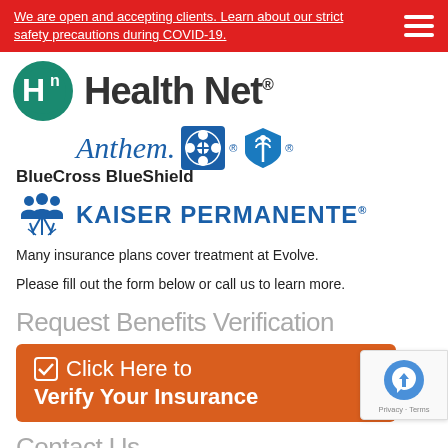We are open and accepting clients. Learn about our strict safety precautions during COVID-19.
[Figure (logo): Health Net logo with teal Hn icon and bold Health Net text]
[Figure (logo): Anthem BlueCross BlueShield logo with blue cross and shield icons]
[Figure (logo): Kaiser Permanente logo with people icon and blue text]
Many insurance plans cover treatment at Evolve.
Please fill out the form below or call us to learn more.
Request Benefits Verification
☑ Click Here to
Verify Your Insurance
Contact Us